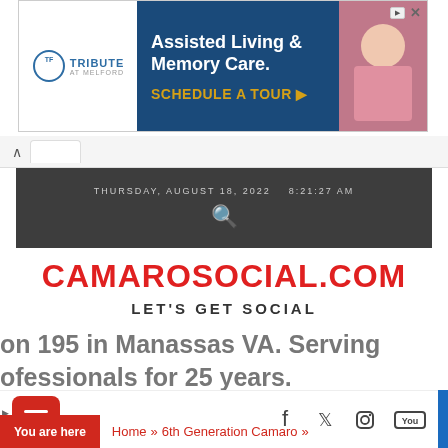[Figure (screenshot): Advertisement banner for Tribute at Melford: Assisted Living & Memory Care, Schedule a Tour]
THURSDAY, AUGUST 18, 2022   8:21:27 AM
CAMAROSOCIAL.COM
LET'S GET SOCIAL
on 195 in Manassas VA. Serving professionals for 25 years.
[Figure (screenshot): Bottom navigation bar with hamburger menu (red) and social icons: Facebook, Twitter, Instagram, YouTube]
You are here  Home » 6th Generation Camaro »